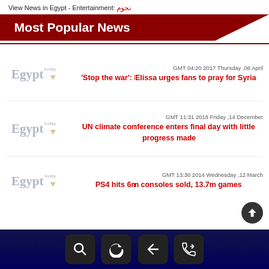View News in Egypt - Entertainment: نجوم
Most Popular News
GMT 04:20 2017 Thursday ,06 April
'Stop the war': Elissa urges fans to pray for Syria
GMT 11:31 2018 Friday ,14 December
UN climate conference enters final day with little progress made
GMT 13:30 2014 Wednesday ,12 March
PS4 hits 6m consoles sold, 13.7m games
[Figure (screenshot): Bottom navigation bar with search, refresh, back, and phone icons on dark blue background]